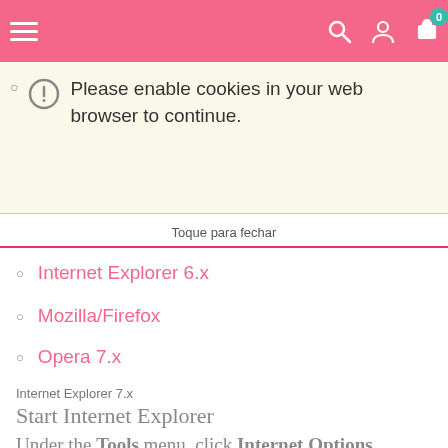[Figure (screenshot): Pink website header bar with hamburger menu icon, search icon, user icon, and shopping cart icon with badge showing 0]
Please enable cookies in your web browser to continue.
Toque para fechar
Internet Explorer 6.x
Mozilla/Firefox
Opera 7.x
Internet Explorer 7.x
Start Internet Explorer
Under the Tools menu, click Internet Options
[Figure (screenshot): Internet Explorer Tools menu dropdown showing Tools (highlighted in blue), Help, Delete Browsing History..., Pop-up Blocker with arrow]